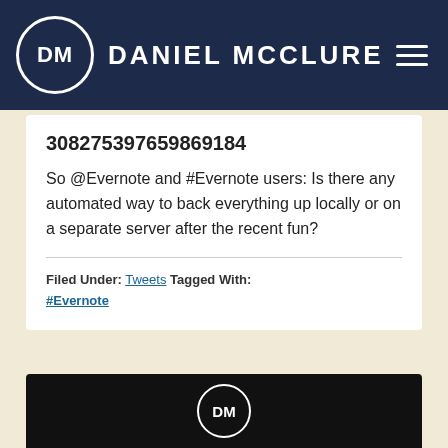DM DANIEL MCCLURE
308275397659869184
So @Evernote and #Evernote users: Is there any automated way to back everything up locally or on a separate server after the recent fun?
Filed Under: Tweets Tagged With: #Evernote
[Figure (screenshot): Bottom dark card with DM logo circle]